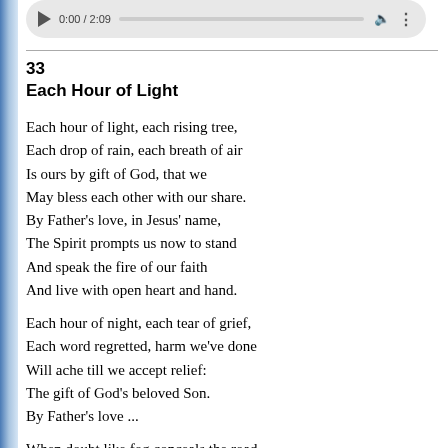[Figure (screenshot): Audio player control showing play button, time 0:00/2:09, progress bar, volume icon, and more options icon]
33
Each Hour of Light
Each hour of light, each rising tree,
Each drop of rain, each breath of air
Is ours by gift of God, that we
May bless each other with our share.
    By Father's love, in Jesus' name,
    The Spirit prompts us now to stand
    And speak the fire of our faith
    And live with open heart and hand.
Each hour of night, each tear of grief,
Each word regretted, harm we've done
Will ache till we accept relief:
The gift of God's beloved Son.
    By Father's love ...
When doubt like fog conceals the road,
When signs and wonders lead astray,
When by our fears our steps are slowed
The guiding Spirit shows the way.